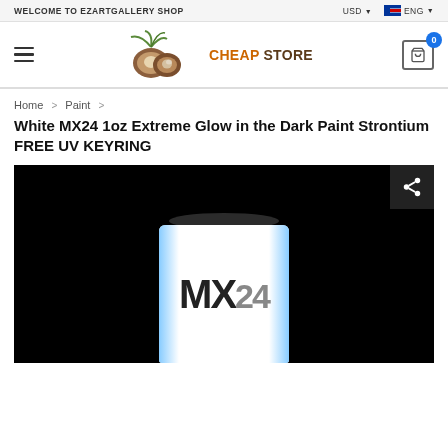WELCOME TO EZARTGALLERY SHOP | USD | ENG
[Figure (logo): Coconut Cheap Store logo with two coconuts and text 'CHEAP STORE']
Home > Paint > White MX24 1oz Extreme Glow in the Dark Paint Strontium FREE UV KEYRING
White MX24 1oz Extreme Glow in the Dark Paint Strontium FREE UV KEYRING
[Figure (photo): Product photo of MX24 paint can glowing against a black background, showing the bottom portion of a white cylindrical container with 'MX24' text visible]